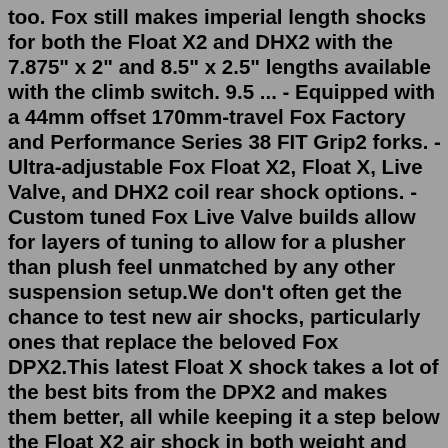too. Fox still makes imperial length shocks for both the Float X2 and DHX2 with the 7.875" x 2" and 8.5" x 2.5" lengths available with the climb switch. 9.5 ... - Equipped with a 44mm offset 170mm-travel Fox Factory and Performance Series 38 FIT Grip2 forks. - Ultra-adjustable Fox Float X2, Float X, Live Valve, and DHX2 coil rear shock options. - Custom tuned Fox Live Valve builds allow for layers of tuning to allow for a plusher than plush feel unmatched by any other suspension setup.We don't often get the chance to test new air shocks, particularly ones that replace the beloved Fox DPX2.This latest Float X shock takes a lot of the best bits from the DPX2 and makes them better, all while keeping it a step below the Float X2 air shock in both weight and intentions. The new Float X receives an enlarged air can for a more supple initial stroke, and Fox says that this also ...Pertains to the Fox Float DPS Performance model / 3 position lever / Trunnion mount Stock standard on Giant Trance e+3Pro and e+2Pro. (Not sure if this applies to other shock units with external piggyback cylinders)